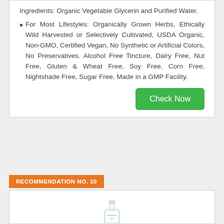Ingredients: Organic Vegetable Glycerin and Purified Water.
For Most Lifestyles: Organically Grown Herbs, Ethically Wild Harvested or Selectively Cultivated, USDA Organic, Non-GMO, Certified Vegan, No Synthetic or Artificial Colors, No Preservatives. Alcohol Free Tincture, Dairy Free, Nut Free, Gluten & Wheat Free, Soy Free, Corn Free, Nightshade Free, Sugar Free, Made in a GMP Facility.
Check Now
RECOMMENDATION NO. 10
[Figure (photo): Product bottle of SkinSmart spray]